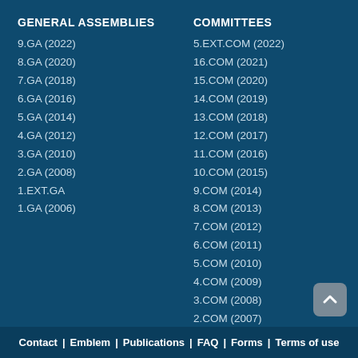GENERAL ASSEMBLIES
9.GA (2022)
8.GA (2020)
7.GA (2018)
6.GA (2016)
5.GA (2014)
4.GA (2012)
3.GA (2010)
2.GA (2008)
1.EXT.GA
1.GA (2006)
COMMITTEES
5.EXT.COM (2022)
16.COM (2021)
15.COM (2020)
14.COM (2019)
13.COM (2018)
12.COM (2017)
11.COM (2016)
10.COM (2015)
9.COM (2014)
8.COM (2013)
7.COM (2012)
6.COM (2011)
5.COM (2010)
4.COM (2009)
3.COM (2008)
2.COM (2007)
1.COM (2006)
Contact | Emblem | Publications | FAQ | Forms | Terms of use